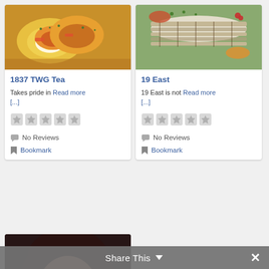[Figure (photo): Food photo: eggs benedict with hollandaise sauce and salmon for 1837 TWG Tea card]
1837 TWG Tea
Takes pride in Read more [...]
[Figure (other): Five empty star rating icons]
No Reviews
Bookmark
[Figure (photo): Grilled chicken/fish slices with vegetables for 19 East card]
19 East
19 East is not Read more [...]
[Figure (other): Five empty star rating icons]
No Reviews
Bookmark
[Figure (photo): Close-up portrait photo of a woman with dark nails and hoop earrings]
Share This ∨  ✕